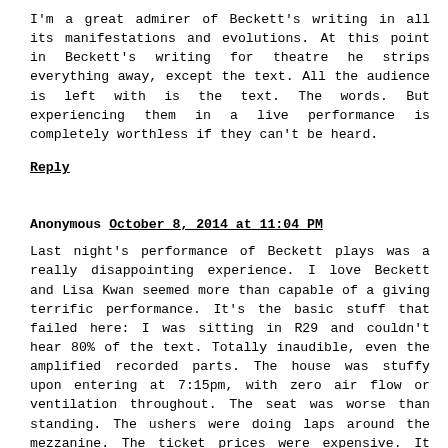I'm a great admirer of Beckett's writing in all its manifestations and evolutions. At this point in Beckett's writing for theatre he strips everything away, except the text. All the audience is left with is the text. The words. But experiencing them in a live performance is completely worthless if they can't be heard.
Reply
Anonymous October 8, 2014 at 11:04 PM
Last night's performance of Beckett plays was a really disappointing experience. I love Beckett and Lisa Kwan seemed more than capable of a giving terrific performance. It's the basic stuff that failed here: I was sitting in R29 and couldn't hear 80% of the text. Totally inaudible, even the amplified recorded parts. The house was stuffy upon entering at 7:15pm, with zero air flow or ventilation throughout. The seat was worse than standing. The ushers were doing laps around the mezzanine. The ticket prices were expensive. It started late. "55 minutes" was really more like 45, and that's if you include the padding of music between plays. I'm sorry to say, this experience will not be soon forgotten.